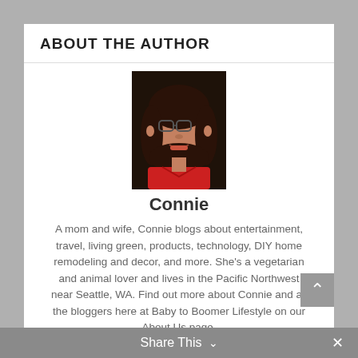ABOUT THE AUTHOR
[Figure (photo): Headshot photo of Connie, a woman with dark curly hair and glasses, wearing a red top, smiling.]
Connie
A mom and wife, Connie blogs about entertainment, travel, living green, products, technology, DIY home remodeling and decor, and more. She's a vegetarian and animal lover and lives in the Pacific Northwest near Seattle, WA. Find out more about Connie and all the bloggers here at Baby to Boomer Lifestyle on our About Us page.
[Figure (infographic): Social media icons: Facebook (f), Twitter (bird), Google+ (g+), Pinterest (p), LinkedIn (in)]
Share This ∨  ×